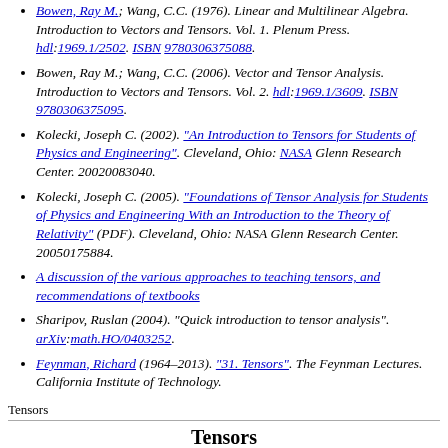Bowen, Ray M.; Wang, C.C. (1976). Linear and Multilinear Algebra. Introduction to Vectors and Tensors. Vol. 1. Plenum Press. hdl:1969.1/2502. ISBN 9780306375088.
Bowen, Ray M.; Wang, C.C. (2006). Vector and Tensor Analysis. Introduction to Vectors and Tensors. Vol. 2. hdl:1969.1/3609. ISBN 9780306375095.
Kolecki, Joseph C. (2002). "An Introduction to Tensors for Students of Physics and Engineering". Cleveland, Ohio: NASA Glenn Research Center. 20020083040.
Kolecki, Joseph C. (2005). "Foundations of Tensor Analysis for Students of Physics and Engineering With an Introduction to the Theory of Relativity" (PDF). Cleveland, Ohio: NASA Glenn Research Center. 20050175884.
A discussion of the various approaches to teaching tensors, and recommendations of textbooks
Sharipov, Ruslan (2004). "Quick introduction to tensor analysis". arXiv:math.HO/0403252.
Feynman, Richard (1964–2013). "31. Tensors". The Feynman Lectures. California Institute of Technology.
Tensors
Tensors
Glossary of tensor theory
Coordinate system
Differential geometry